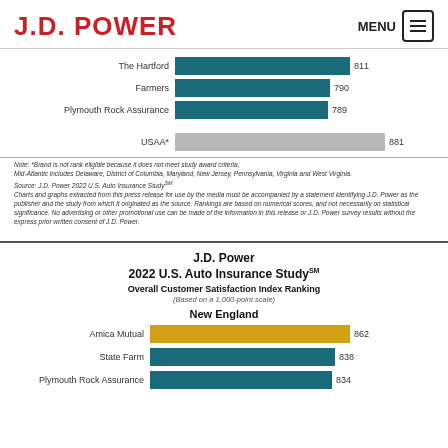J.D. POWER | MENU
[Figure (bar-chart): Mid-Atlantic Auto Insurance Rankings]
Note: *Brand is not rank eligible because it does not meet study award criteria; Mid-Atlantic includes Delaware, District of Columbia, Maryland, New Jersey, Pennsylvania, Virginia and West Virginia. Source: J.D. Power 2022 U.S. Auto Insurance Study(SM) Charts and graphs extracted from this press release for use by the media must be accompanied by a statement identifying J.D. Power as the publisher and the study from which it originated as the source. Rankings are based on numerical scores, and not necessarily on statistical significance. No advertising or other promotional use can be made of the information in this release or J.D. Power survey results without the express prior written consent of J.D. Power.
J.D. Power 2022 U.S. Auto Insurance StudySM
Overall Customer Satisfaction Index Ranking
(Based on a 1,000-point scale)
New England
[Figure (bar-chart): New England Auto Insurance Rankings]